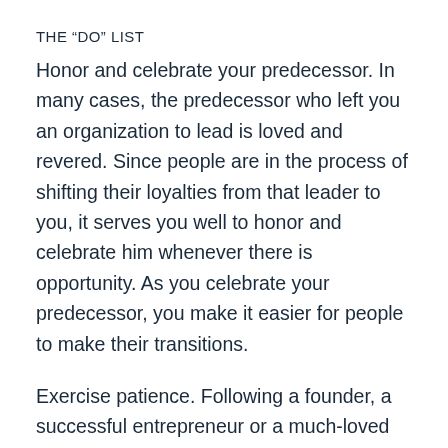THE “DO” LIST
Honor and celebrate your predecessor. In many cases, the predecessor who left you an organization to lead is loved and revered. Since people are in the process of shifting their loyalties from that leader to you, it serves you well to honor and celebrate him whenever there is opportunity. As you celebrate your predecessor, you make it easier for people to make their transitions.
Exercise patience. Following a founder, a successful entrepreneur or a much-loved